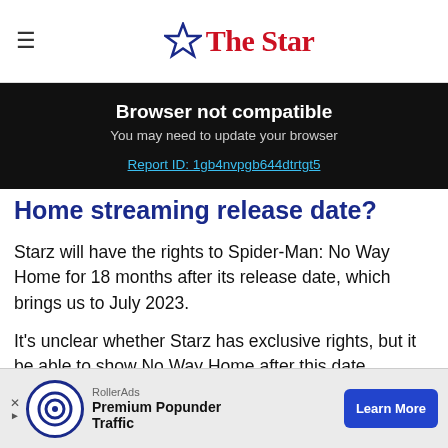The Star
[Figure (infographic): Browser not compatible banner with report ID link: Report ID: 1gb4nvpgb644dtrtgt5]
Home streaming release date?
Starz will have the rights to Spider-Man: No Way Home for 18 months after its release date, which brings us to July 2023.
It's unclear whether Starz has exclusive rights, but it ... be able to show No Way Home after this date.
[Figure (infographic): RollerAds advertisement: Premium Popunder Traffic with Learn More button]